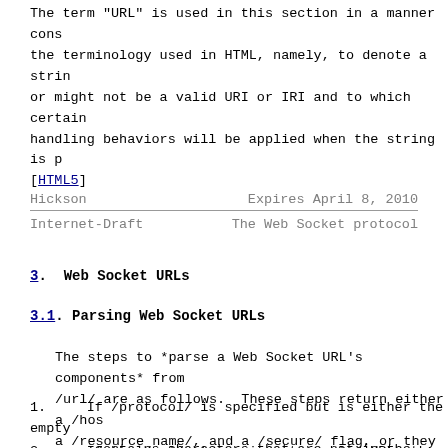The term "URL" is used in this section in a manner consistent with the terminology used in HTML, namely, to denote a string that may or might not be a valid URI or IRI and to which certain processing handling behaviors will be applied when the string is parsed. [HTML5]
Hickson                        Expires April 8, 2010
Internet-Draft          The Web Socket protocol
3.  Web Socket URLs
3.1.  Parsing Web Socket URLs
The steps to *parse a Web Socket URL's components* from /url/ are as follows.  These steps return either a /host/, a /resource name/, and a /secure/ flag, or they fail.
1.   If /protocol/ is specified but is either the empty string or contains characters that are not in the range U+0021 to U+007E, then fail this algorithm.
2.   If the /url/ string is not a valid URL, then fail...